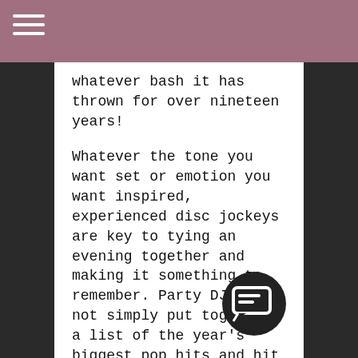whatever bash it has thrown for over nineteen years!
Whatever the tone you want set or emotion you want inspired, experienced disc jockeys are key to tying an evening together and making it something to remember. Party DJs do not simply put together a list of the year's biggest pop hits and hit 'play'; they are your masters of ceremony, taking the lead in getting your guests excited and moving the event along on schedule.
There is a lot of music out there in the world and one's library tends to be limited to the decades, genres, and artists that they're comfortable with. With a much more inclusive